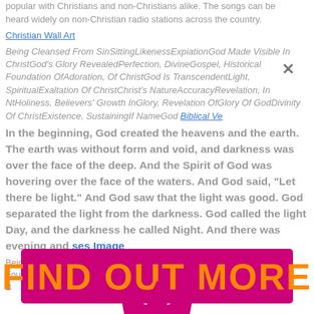popular with Christians and non-Christians alike. The songs can be heard widely on non-Christian radio stations across the country.
Christian Wall Art
Being Cleansed From SinSittingLikenessExpiationGod Made Visible In ChristGod's Glory RevealedPerfection, DivineGospel, Historical Foundation OfAdoration, Of ChristGod Is TranscendentLight, SpiritualExaltation Of ChristChrist's NatureAccuracyRevelation, In NtHoliness, Believers' Growth InGlory, Revelation OfGlory Of GodDivinity Of ChristExistence, SustainingIf NameGod Biblical Ve...
In the beginning, God created the heavens and the earth. The earth was without form and void, and darkness was over the face of the deep. And the Spirit of God was hovering over the face of the waters. And God said, "Let there be light," and there was light. And God saw that the light was good. And God separated the light from the darkness. God called the light Day, and the darkness he called Night. And there was evening and there was morning...
[Figure (infographic): Pink/magenta rectangular banner with bold yellow-orange text reading FIND OUT MORE, overlaid on page content. Below it, a large pink/magenta gear/starburst shape containing bold yellow-orange text reading CLICK HERE.]